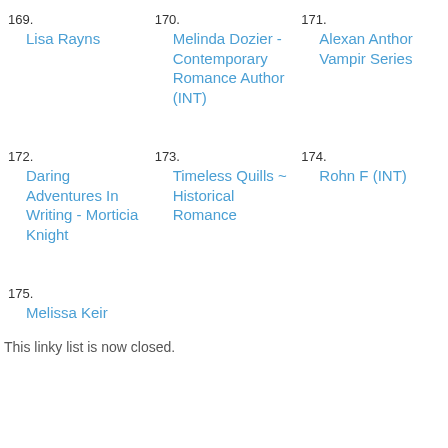169. Lisa Rayns
170. Melinda Dozier - Contemporary Romance Author (INT)
171. Alexan Anthor Vampir Series
172. Daring Adventures In Writing - Morticia Knight
173. Timeless Quills ~ Historical Romance
174. Rohn F (INT)
175. Melissa Keir
This linky list is now closed.